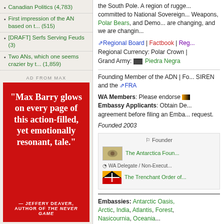Canadian Politics (4,783)
First impression of the AN based on t... (515)
[DRAFT] Serfs Serving Feuds (3)
Two ANs, which one seems crazier by t... (1,859)
AD FROM MAX
"Max Barry glows on every page of this action-filled, yet emotionally resonant, tale." — JEFFERY DEAVER, AUTHOR OF THE NEVER GAME
the South Pole. A region of rugge... committed to National Sovereign... Weapons, Polar Bears, and Demo... are changing, and we are changin...
Regional Board | Factbook | Reg... Regional Currency: Polar Crown | Grand Army: Piedra Negra
Founding Member of the ADN | Fo... SIREN and the FRA
WA Members: Please endorse Embassy Applicants: Obtain De... agreement before filing an Emba... request.
Founded 2003
Founder
The Antarctica Foun...
WA Delegate / Non-Execut...
The Trenchant Order of...
Embassies: Antarctic Oasis, Arctic, India, Atlantis, Forest, Nasicournia, Oceania...